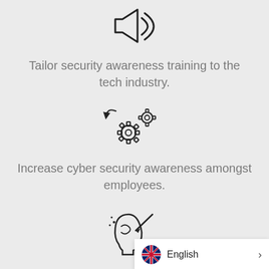[Figure (illustration): Megaphone / loudspeaker icon with sound waves, outline style]
Tailor security awareness training to the tech industry.
[Figure (illustration): Two interlocking gear cogs with motion arrows, outline style]
Increase cyber security awareness amongst employees.
[Figure (illustration): Side profile of a human head with a cursor/arrow pointing at the brain, outline style]
Engaging and easy-to-
English